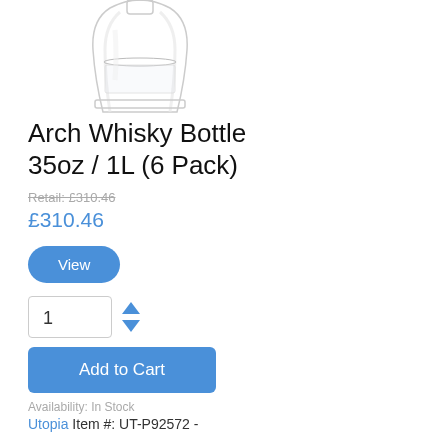[Figure (photo): Top portion of a glass whisky bottle, transparent/clear glass with ridged neck and base visible]
Arch Whisky Bottle 35oz / 1L (6 Pack)
Retail: £310.46
£310.46
View
1
Add to Cart
Availability: In Stock
Utopia Item #: UT-P92572 -